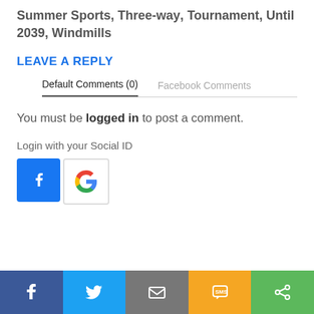Summer Sports, Three-way, Tournament, Until 2039, Windmills
LEAVE A REPLY
Default Comments (0)   Facebook Comments
You must be logged in to post a comment.
Login with your Social ID
[Figure (logo): Facebook login button (blue square with white f icon) and Google login button (white square with colorful G icon)]
[Figure (infographic): Share bar with 5 buttons: Facebook (dark blue), Twitter (light blue), Email (gray), SMS (yellow/orange), Share (green)]